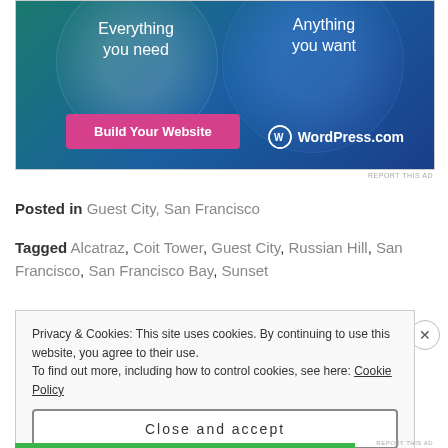[Figure (screenshot): WordPress.com advertisement banner with teal and blue gradient background, two overlapping circles, text 'Everything you need' and 'Anything you want', a pink 'Build Your Website' button, and WordPress.com logo]
REPORT THIS AD
Posted in Guest City, San Francisco
Tagged Alcatraz, Coit Tower, Guest City, Russian Hill, San Francisco, San Francisco Bay, Sunset
Privacy & Cookies: This site uses cookies. By continuing to use this website, you agree to their use.
To find out more, including how to control cookies, see here: Cookie Policy
Close and accept